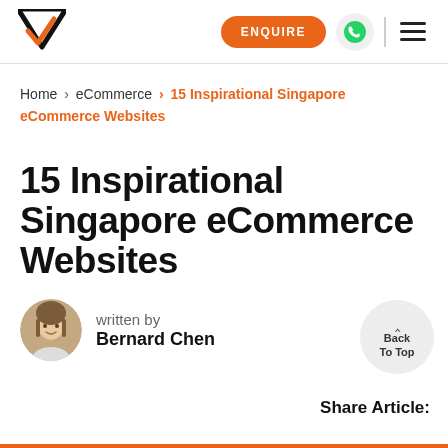[Figure (logo): Triangular arrow logo mark in black and orange]
ENQUIRE
[Figure (logo): WhatsApp green icon]
Home > eCommerce > 15 Inspirational Singapore eCommerce Websites
15 Inspirational Singapore eCommerce Websites
written by Bernard Chen
[Figure (photo): Author avatar photo of a woman]
Back To Top
Share Article: